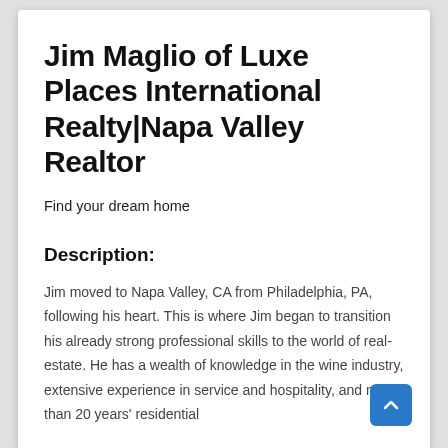Jim Maglio of Luxe Places International Realty|Napa Valley Realtor
Find your dream home
Description:
Jim moved to Napa Valley, CA from Philadelphia, PA, following his heart. This is where Jim began to transition his already strong professional skills to the world of real-estate. He has a wealth of knowledge in the wine industry, extensive experience in service and hospitality, and more than 20 years' residential